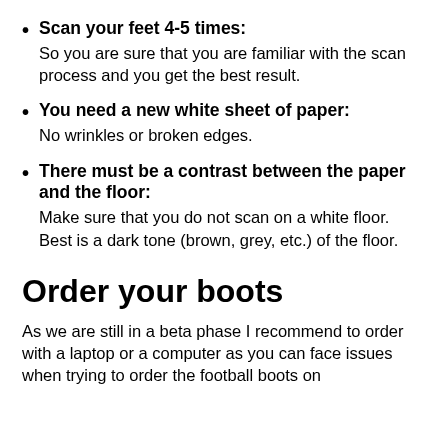Scan your feet 4-5 times: So you are sure that you are familiar with the scan process and you get the best result.
You need a new white sheet of paper: No wrinkles or broken edges.
There must be a contrast between the paper and the floor: Make sure that you do not scan on a white floor. Best is a dark tone (brown, grey, etc.) of the floor.
Order your boots
As we are still in a beta phase I recommend to order with a laptop or a computer as you can face issues when trying to order the football boots on